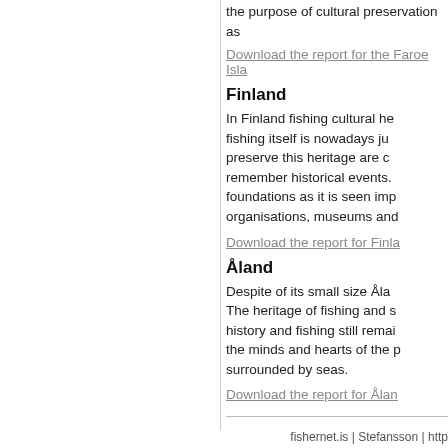the purpose of cultural preservation as
Download the report for the Faroe Isla
Finland
In Finland fishing cultural he fishing itself is nowadays ju preserve this heritage are c remember historical events. foundations as it is seen imp organisations, museums and
Download the report for Finla
Åland
Despite of its small size Åla The heritage of fishing and s history and fishing still remai the minds and hearts of the p surrounded by seas.
Download the report for Ålan
fishernet.is | Stefansson | http